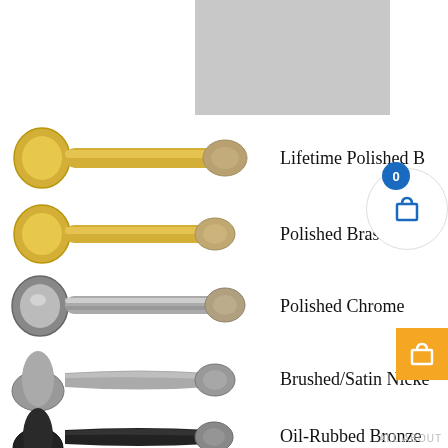[Figure (photo): Product listing page showing door stoppers in five finishes: Lifetime Polished Brass, Polished Brass, Polished Chrome, Brushed/Satin Nickel, Oil-Rubbed Bronze. Each row shows a photo of the door stopper on the left and the finish name on the right. A blue cart badge overlay and an orange cart button are visible. A gray rectangle at the top represents a partially visible product image. A watermark reads ALL ABOUT at bottom right.]
Lifetime Polished B[rass]
Polished Brass
Polished Chrome
Brushed/Satin Nicke[l]
Oil-Rubbed Bronze
ALL ABOUT